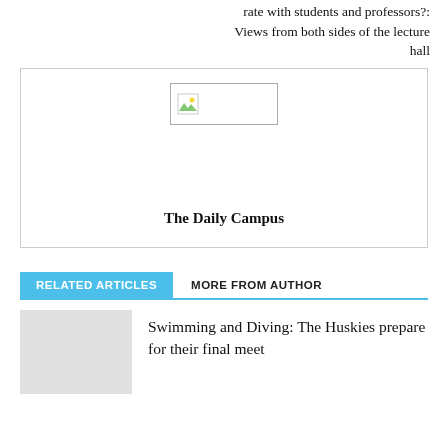rate with students and professors?: Views from both sides of the lecture hall
[Figure (other): Broken image placeholder with 'The Daily Campus' label below]
RELATED ARTICLES   MORE FROM AUTHOR
Swimming and Diving: The Huskies prepare for their final meet